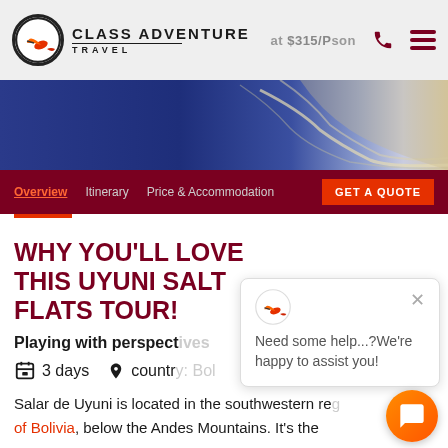Class Adventure Travel — Starting at $315/Person
[Figure (photo): Aerial photograph of Bolivia salt flats and winding river channels from above]
Overview  Itinerary  Price & Accommodation  GET A QUOTE
WHY YOU'LL LOVE THIS UYUNI SALT FLATS TOUR!
Playing with perspectives
3 days  country: Bolivia
Salar de Uyuni is located in the southwestern region of Bolivia, below the Andes Mountains. It's the